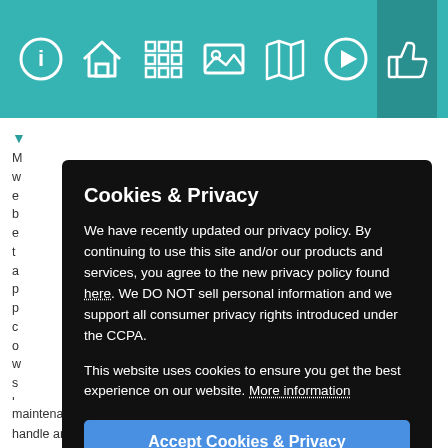Navigation bar with icons: info, home, grid/apps, image, map, play, thumbs-up
M... w... e... b... e... t... a... p... p... c... o... w... s... l... n... c...
Cookies & Privacy
We have recently updated our privacy policy. By continuing to use this site and/or our products and services, you agree to the new privacy policy found here. We DO NOT sell personal information and we support all consumer privacy rights introduced under the CCPA.
This website uses cookies to ensure you get the best experience on our website. More information
Accept Cookies & Privacy
maintenance was called right away and they replaced the door handle and kept the same code which was incredibly convenient